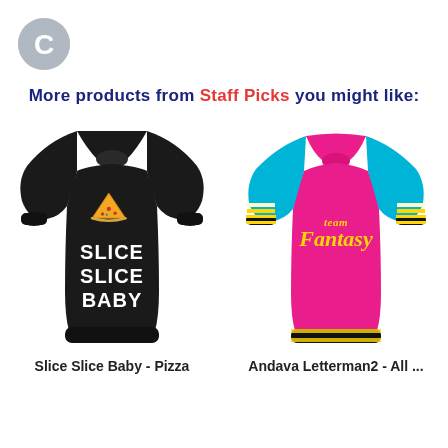[Figure (logo): Gray circular logo with letter C]
More products from Staff Picks you might like:
[Figure (photo): Black hoodie with pizza graphic and text SLICE SLICE BABY]
Slice Slice Baby - Pizza
[Figure (photo): Pink and cyan letterman jacket with Fantasy text on back]
Andava Letterman2 - All ...